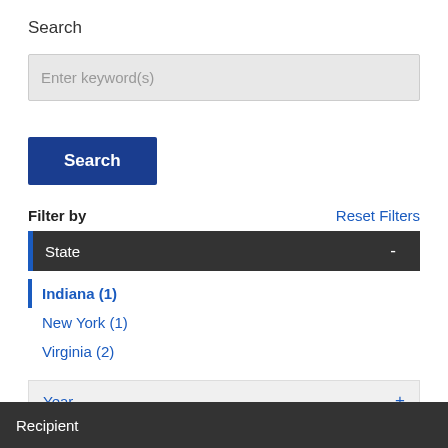Search
Enter keyword(s)
Search
Filter by
Reset Filters
State -
Indiana (1)
New York (1)
Virginia (2)
Year +
Recipient